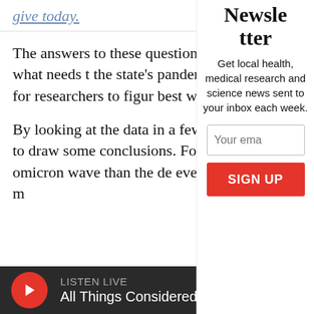give today.
The answers to these questions can c important insights into what needs t the state's pandemic response and h been a puzzle for researchers to figur best way to measure and compare CO
By looking at the data in a few differe researchers are starting to draw some conclusions. For starters, more peopl during the omicron wave than the de even though omicron caused more m
Newsletter
Get local health, medical research and science news sent to your inbox each week.
Your ema
SIGN UP
LISTEN LIVE
All Things Considered